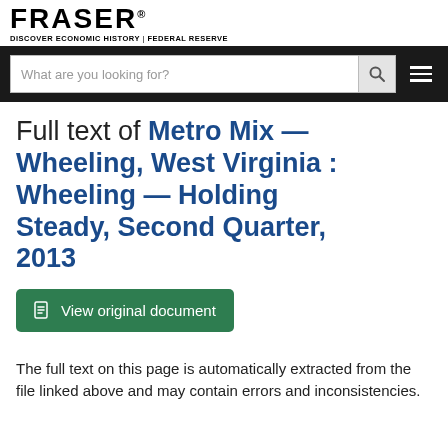FRASER — DISCOVER ECONOMIC HISTORY | FEDERAL RESERVE
Full text of Metro Mix — Wheeling, West Virginia : Wheeling — Holding Steady, Second Quarter, 2013
View original document
The full text on this page is automatically extracted from the file linked above and may contain errors and inconsistencies.